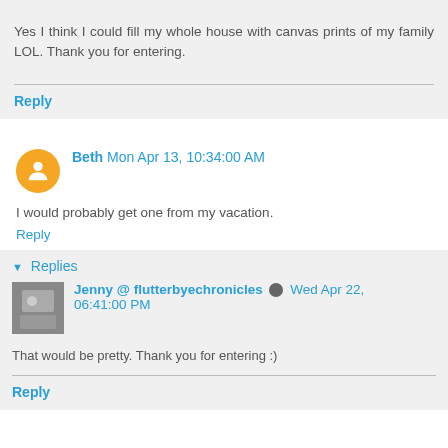Yes I think I could fill my whole house with canvas prints of my family LOL. Thank you for entering.
Reply
Beth  Mon Apr 13, 10:34:00 AM
I would probably get one from my vacation.
Reply
Replies
Jenny @ flutterbyechronicles  Wed Apr 22, 06:41:00 PM
That would be pretty. Thank you for entering :)
Reply